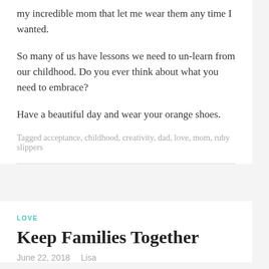my incredible mom that let me wear them any time I wanted.
So many of us have lessons we need to un-learn from our childhood. Do you ever think about what you need to embrace?
Have a beautiful day and wear your orange shoes.
Tagged acceptance, childhood, creativity, dad, love, mom, ruby slippers
LOVE
Keep Families Together
June 22, 2018   Lisa